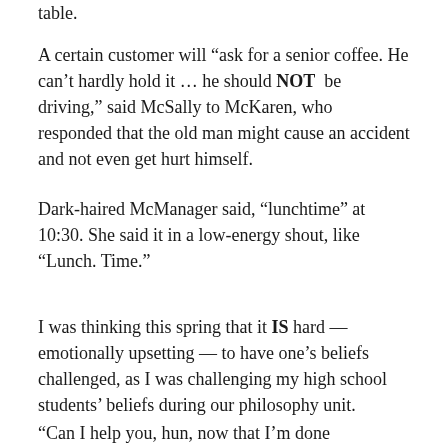table.
A certain customer will “ask for a senior coffee. He can’t hardly hold it … he should NOT be driving,” said McSally to McKaren, who responded that the old man might cause an accident and not even get hurt himself.
Dark-haired McManager said, “lunchtime” at 10:30. She said it in a low-energy shout, like “Lunch. Time.”
I was thinking this spring that it IS hard — emotionally upsetting — to have one’s beliefs challenged, as I was challenging my high school students’ beliefs during our philosophy unit.
“Can I help you, hun, now that I’m done